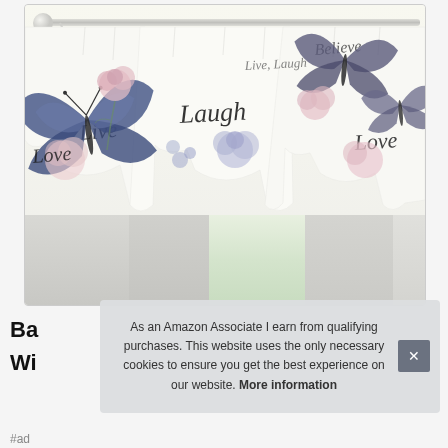[Figure (photo): Product photo of a window valance/curtain with butterfly and floral pattern on white fabric, with script text reading 'Live', 'Laugh', 'Love', 'Believe', mounted on a curtain rod over a window]
Ba
Wi
As an Amazon Associate I earn from qualifying purchases. This website uses the only necessary cookies to ensure you get the best experience on our website. More information